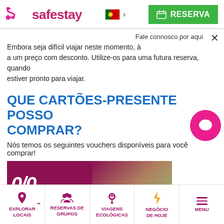[Figure (logo): Safestay logo with pink S-shaped icon and pink text 'safestay']
[Figure (logo): Portuguese flag icon with chevron for language selection]
[Figure (other): Green RESERVA button with calendar icon]
Fale connosco por aqui
Embora seja difícil viajar neste momento, a um preço com desconto. Utilize-os para uma futura reserva, quando estiver pronto para viajar.
[Figure (other): Pink circular chat bubble button]
QUE CARTÕES-PRESENTE POSSO COMPRAR?
Nós temos os seguintes vouchers disponíveis para você comprar!
[Figure (photo): Dark magenta/maroon promotional banner with large white text partially visible]
[Figure (infographic): Bottom navigation bar with: EXPLORAR LOCAIS (location pin icon), RESERVAS DE GRUPOS (people icon), VIAGENS ECOLÓGICAS (eco icon), NEGÓCIO DE HOJE (lightning bolt icon), MENU (hamburger icon)]